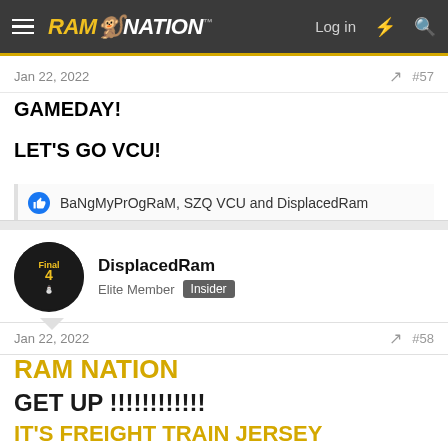RAM NATION — Log in
Jan 22, 2022   #57
GAMEDAY!
LET'S GO VCU!
BaNgMyPrOgRaM, SZQ VCU and DisplacedRam
DisplacedRam
Elite Member  Insider
Jan 22, 2022   #58
RAM NATION
GET UP !!!!!!!!!!!
IT'S FREIGHT TRAIN JERSEY